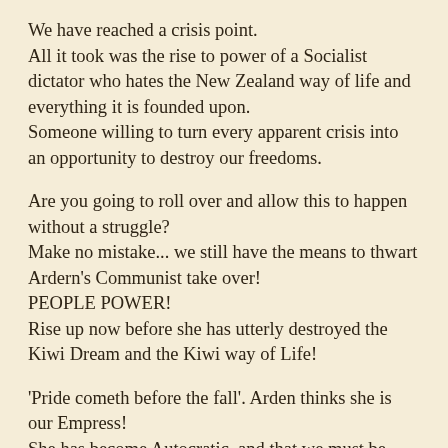We have reached a crisis point. All it took was the rise to power of a Socialist dictator who hates the New Zealand way of life and everything it is founded upon. Someone willing to turn every apparent crisis into an opportunity to destroy our freedoms.
Are you going to roll over and allow this to happen without a struggle? Make no mistake... we still have the means to thwart Ardern’s Communist take over! PEOPLE POWER! Rise up now before she has utterly destroyed the Kiwi Dream and the Kiwi way of Life!
‘Pride cometh before the fall’. Arden thinks she is our Empress! She has become Autocratic. and that we must be subject to her will.